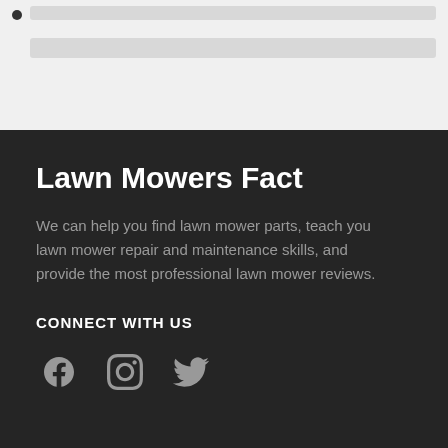[Figure (screenshot): Top section with light gray background showing skeleton/placeholder UI elements: a small dark dot and two gray horizontal bars]
Lawn Mowers Fact
We can help you find lawn mower parts, teach you lawn mower repair and maintenance skills, and provide the most professional lawn mower reviews.
CONNECT WITH US
[Figure (illustration): Three social media icons: Facebook, Instagram, and Twitter, displayed in gray on a dark background]